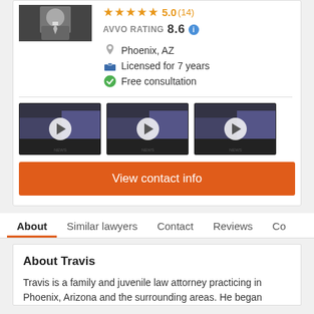★★★★★ 5.0 (14)
AVVO RATING 8.6
Phoenix, AZ
Licensed for 7 years
Free consultation
[Figure (screenshot): Three video thumbnails showing a lawyer in a suit with play buttons]
View contact info
About  Similar lawyers  Contact  Reviews  Co
About Travis
Travis is a family and juvenile law attorney practicing in Phoenix, Arizona and the surrounding areas. He began